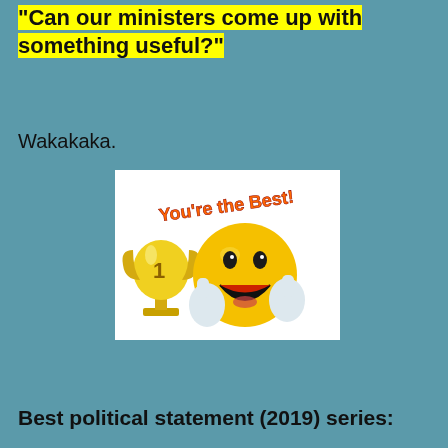Can our ministers come up with something useful?"
Wakakaka.
[Figure (illustration): A cartoon smiley face emoji giving a thumbs up next to a gold trophy cup with '1' on it, and the text 'You're the Best!' in orange/red lettering on a white background.]
Best political statement (2019) series: